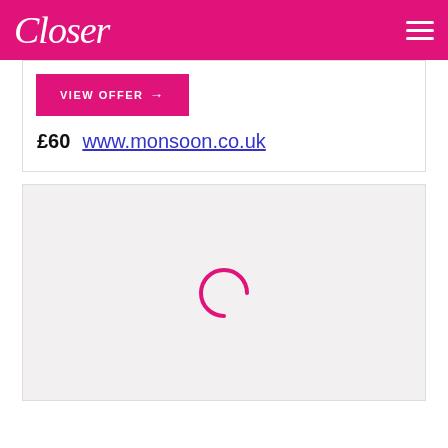Closer
VIEW OFFER →
£60  www.monsoon.co.uk
[Figure (other): Loading spinner — a pink partial circle arc indicating content is loading, on a light grey background card]